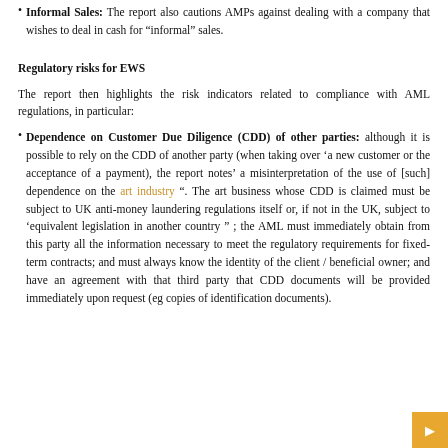• Informal Sales: The report also cautions AMPs against dealing with a company that wishes to deal in cash for “informal” sales.
Regulatory risks for EWS
The report then highlights the risk indicators related to compliance with AML regulations, in particular:
• Dependence on Customer Due Diligence (CDD) of other parties: although it is possible to rely on the CDD of another party (when taking over ‘a new customer or the acceptance of a payment), the report notes’ a misinterpretation of the use of [such] dependence on the art industry “. The art business whose CDD is claimed must be subject to UK anti-money laundering regulations itself or, if not in the UK, subject to ‘equivalent legislation in another country ” ; the AML must immediately obtain from this party all the information necessary to meet the regulatory requirements for fixed-term contracts; and must always know the identity of the client / beneficial owner; and have an agreement with that third party that CDD documents will be provided immediately upon request (eg copies of identification documents).